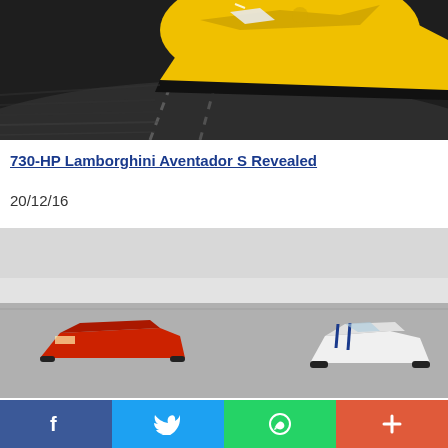[Figure (photo): Yellow Lamborghini Aventador S supercar photographed from above-front angle on dark road with motion blur]
730-HP Lamborghini Aventador S Revealed
20/12/16
[Figure (photo): Two sports cars on a track/salt flat — a red Ferrari and a white Ferrari 488 Spider with blue stripes, shot in monochrome misty background]
Facebook  Twitter  WhatsApp  More